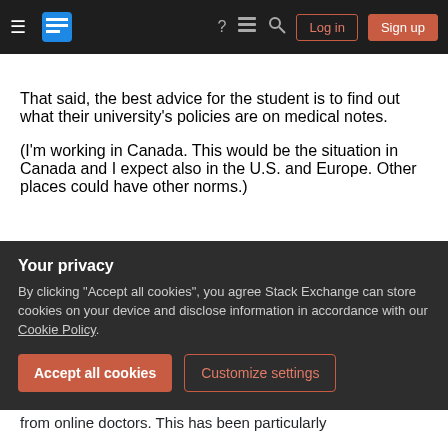Stack Exchange navigation bar with hamburger menu, logo, help, chat, search icons, Log in and Sign up buttons
That said, the best advice for the student is to find out what their university's policies are on medical notes.
(I'm working in Canada. This would be the situation in Canada and I expect also in the U.S. and Europe. Other places could have other norms.)
Share
Improve this answer
Follow
answered May 24, 2018 at 14:35
Theodore Norvell
509 ◆3 ◆7
Your privacy
By clicking "Accept all cookies", you agree Stack Exchange can store cookies on your device and disclose information in accordance with our Cookie Policy.
Accept all cookies   Customize settings
from online doctors. This has been particularly